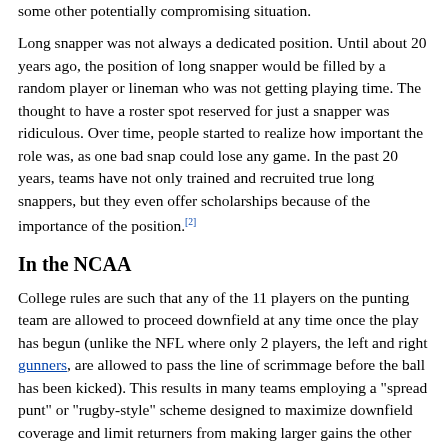some other potentially compromising situation.
Long snapper was not always a dedicated position. Until about 20 years ago, the position of long snapper would be filled by a random player or lineman who was not getting playing time. The thought to have a roster spot reserved for just a snapper was ridiculous. Over time, people started to realize how important the role was, as one bad snap could lose any game. In the past 20 years, teams have not only trained and recruited true long snappers, but they even offer scholarships because of the importance of the position.[2]
In the NCAA
College rules are such that any of the 11 players on the punting team are allowed to proceed downfield at any time once the play has begun (unlike the NFL where only 2 players, the left and right gunners, are allowed to pass the line of scrimmage before the ball has been kicked). This results in many teams employing a "spread punt" or "rugby-style" scheme designed to maximize downfield coverage and limit returners from making larger gains the other way after receiving the ball.
In the NCAA, Defensive players are not able to line up within the